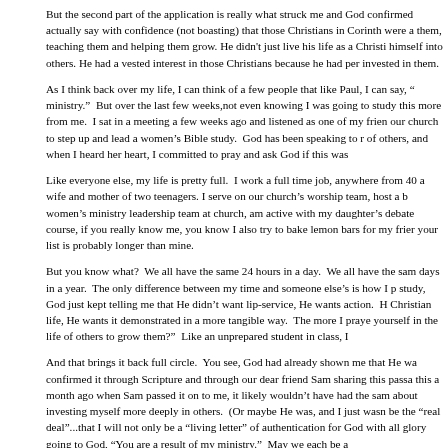But the second part of the application is really what struck me and God confirmed actually say with confidence (not boasting) that those Christians in Corinth were a them, teaching them and helping them grow. He didn't just live his life as a Christi himself into others. He had a vested interest in those Christians because he had per invested in them.
As I think back over my life, I can think of a few people that like Paul, I can say, "ministry." But over the last few weeks,not even knowing I was going to study this more from me. I sat in a meeting a few weeks ago and listened as one of my frien our church to step up and lead a women's Bible study. God has been speaking to r of others, and when I heard her heart, I committed to pray and ask God if this was
Like everyone else, my life is pretty full. I work a full time job, anywhere from 40 a wife and mother of two teenagers. I serve on our church's worship team, host a b women's ministry leadership team at church, am active with my daughter's debate course, if you really know me, you know I also try to bake lemon bars for my frier your list is probably longer than mine.
But you know what? We all have the same 24 hours in a day. We all have the sam days in a year. The only difference between my time and someone else's is how I p study, God just kept telling me that He didn't want lip-service, He wants action. H Christian life, He wants it demonstrated in a more tangible way. The more I praye yourself in the life of others to grow them?" Like an unprepared student in class, I
And that brings it back full circle. You see, God had already shown me that He wa confirmed it through Scripture and through our dear friend Sam sharing this passa this a month ago when Sam passed it on to me, it likely wouldn't have had the sam about investing myself more deeply in others. (Or maybe He was, and I just wasn be the "real deal"...that I will not only be a "living letter" of authentication for God with all glory going to God, "You are a result of my ministry." May we each be a